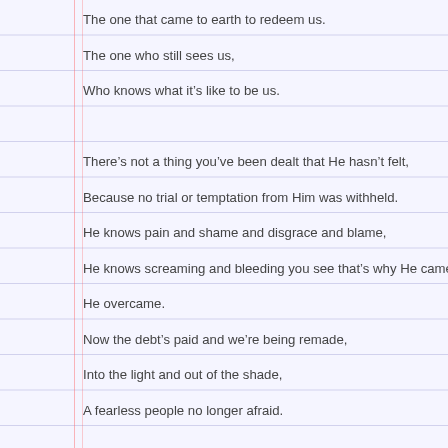The one that came to earth to redeem us.
The one who still sees us,
Who knows what it's like to be us.
There's not a thing you've been dealt that He hasn't felt,
Because no trial or temptation from Him was withheld.
He knows pain and shame and disgrace and blame,
He knows screaming and bleeding you see that's why He came.
He overcame.
Now the debt's paid and we're being remade,
Into the light and out of the shade,
A fearless people no longer afraid.
Knowing all this, what can I say?
How can I possibly live the same way?
How can I ever just walk away?
There's nothing I can do that will ever repay,
No gift I can give that would help to convey,
No word in any language that would help me to say,
Not a masterpiece painted that would rightly display.